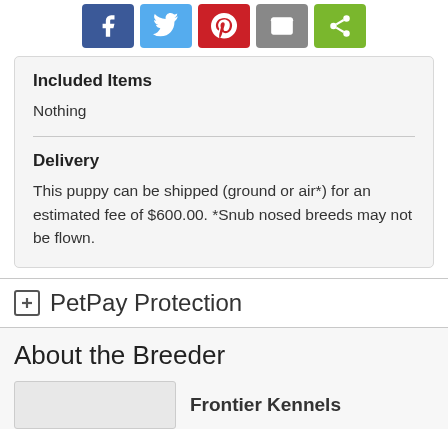[Figure (infographic): Row of five social share buttons: Facebook (blue), Twitter (light blue), Pinterest (red), Email (gray), Share (green)]
Included Items
Nothing
Delivery
This puppy can be shipped (ground or air*) for an estimated fee of $600.00. *Snub nosed breeds may not be flown.
PetPay Protection
About the Breeder
Frontier Kennels